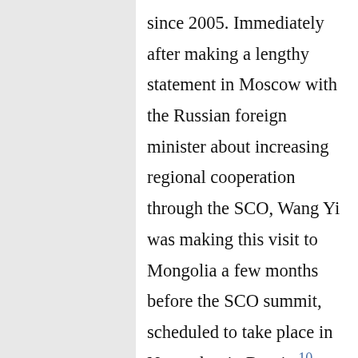since 2005. Immediately after making a lengthy statement in Moscow with the Russian foreign minister about increasing regional cooperation through the SCO, Wang Yi was making this visit to Mongolia a few months before the SCO summit, scheduled to take place in November in Russia.10 However, based on official statements, his visit...